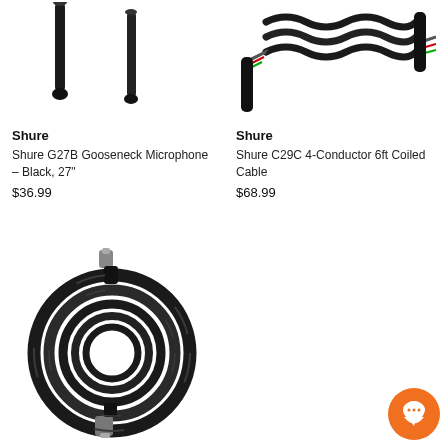[Figure (photo): Shure G27B Gooseneck Microphone - Black, two thin black gooseneck rods shown from above]
Shure
Shure G27B Gooseneck Microphone - Black, 27"
$36.99
[Figure (photo): Shure C29C 4-Conductor 6ft Coiled Cable - black coiled cable with multicolored wires exposed at both ends]
Shure
Shure C29C 4-Conductor 6ft Coiled Cable
$68.99
[Figure (photo): Coiled black BNC cable with metal connectors at each end, shown as a large circular coil]